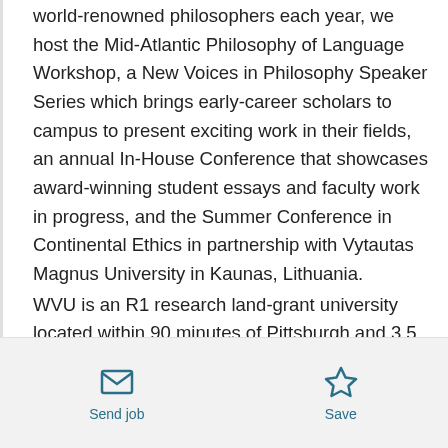world-renowned philosophers each year, we host the Mid-Atlantic Philosophy of Language Workshop, a New Voices in Philosophy Speaker Series which brings early-career scholars to campus to present exciting work in their fields, an annual In-House Conference that showcases award-winning student essays and faculty work in progress, and the Summer Conference in Continental Ethics in partnership with Vytautas Magnus University in Kaunas, Lithuania.

WVU is an R1 research land-grant university located within 90 minutes of Pittsburgh and 3.5 hours from the Washington/Baltimore area. Morgantown has
Send job | Save